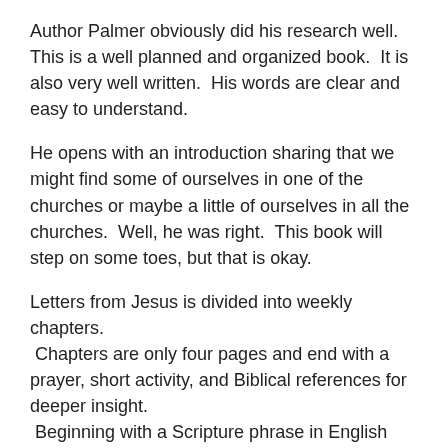Author Palmer obviously did his research well. This is a well planned and organized book. It is also very well written. His words are clear and easy to understand.
He opens with an introduction sharing that we might find some of ourselves in one of the churches or maybe a little of ourselves in all the churches. Well, he was right. This book will step on some toes, but that is okay.
Letters from Jesus is divided into weekly chapters. Chapters are only four pages and end with a prayer, short activity, and Biblical references for deeper insight. Beginning with a Scripture phrase in English and Greek the study continue with a story. Then it goes into the meaning of the Greek word.
This book taught me so much. It is one that I will definitely refer to as well as reread. The author made it timely and interesting. His style of writing is so nice.